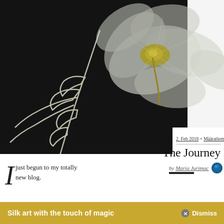[Figure (photo): A silk scarf or fabric with large translucent white/grey flower petals and yellow center, draped over a black background with white leaf/branch outlines painted on it.]
2. Feb 2018 + Määratlemata
The Journey Begins
by Maria Jurimac
I just begun to my totally new blog.
Hopefully it is the start of a wonderful journey!
Silk art with the touch of magic    Dismiss